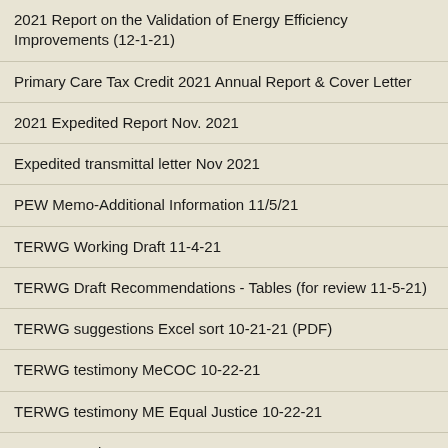| 2021 Report on the Validation of Energy Efficiency Improvements (12-1-21) |
| Primary Care Tax Credit 2021 Annual Report & Cover Letter |
| 2021 Expedited Report Nov. 2021 |
| Expedited transmittal letter Nov 2021 |
| PEW Memo-Additional Information 11/5/21 |
| TERWG Working Draft 11-4-21 |
| TERWG Draft Recommendations - Tables (for review 11-5-21) |
| TERWG suggestions Excel sort 10-21-21 (PDF) |
| TERWG testimony MeCOC 10-22-21 |
| TERWG testimony ME Equal Justice 10-22-21 |
| TERWG testimony MECEP 10-22-21 |